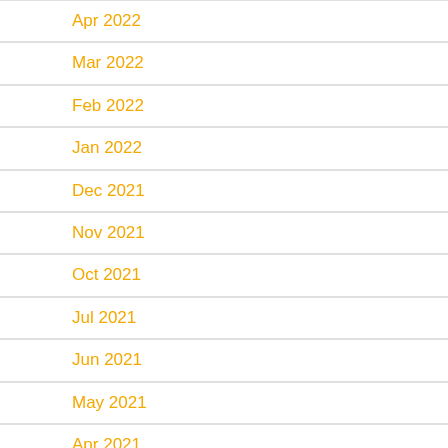Apr 2022
Mar 2022
Feb 2022
Jan 2022
Dec 2021
Nov 2021
Oct 2021
Jul 2021
Jun 2021
May 2021
Apr 2021
Mar 2021
Feb 2021